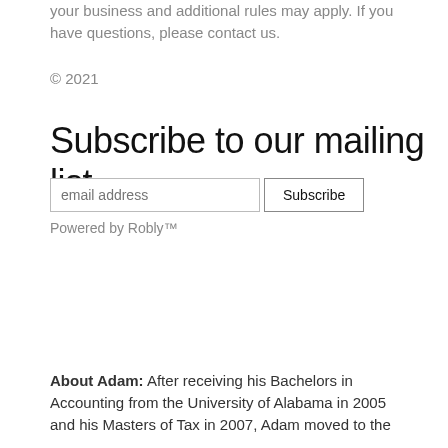your business and additional rules may apply. If you have questions, please contact us.
© 2021
Subscribe to our mailing list
email address  Subscribe
Powered by Robly™
About Adam: After receiving his Bachelors in Accounting from the University of Alabama in 2005 and his Masters of Tax in 2007, Adam moved to the